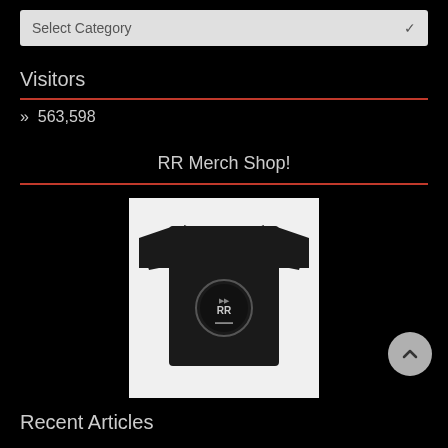Select Category
Visitors
» 563,598
RR Merch Shop!
[Figure (photo): Black t-shirt with RR brand circular logo graphic on chest, displayed on white/light grey background]
Recent Articles